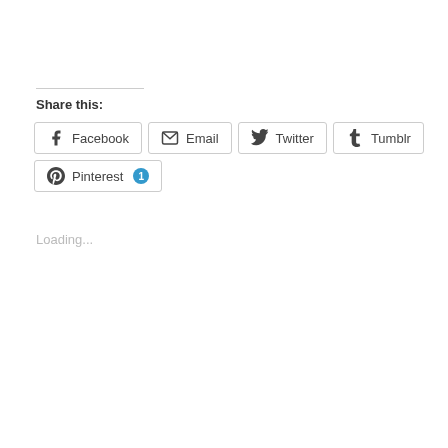Share this:
Facebook
Email
Twitter
Tumblr
Pinterest 1
Loading...
| M | T | W | T | F | S | S |
| --- | --- | --- | --- | --- | --- | --- |